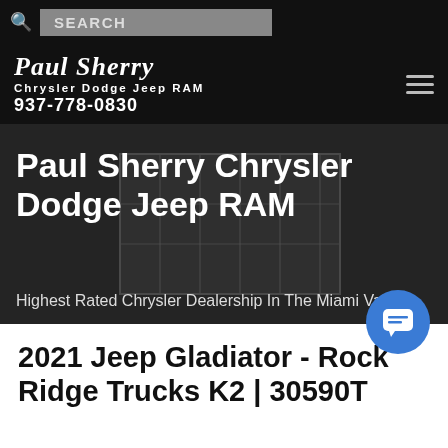SEARCH
[Figure (logo): Paul Sherry Chrysler Dodge Jeep RAM logo with phone number 937-778-0830 on dark background with hamburger menu icon]
[Figure (photo): Hero image showing a Chrysler dealership building exterior with glass windows and structural grid, dark/gray tone]
Paul Sherry Chrysler Dodge Jeep RAM
Highest Rated Chrysler Dealership In The Miami Valley!
2021 Jeep Gladiator - Rock Ridge Trucks K2 | 30590T